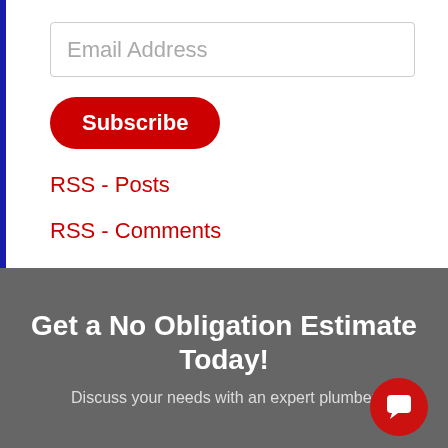Email Address
Subscribe
RSS - Posts
RSS - Comments
Get a No Obligation Estimate Today!
Discuss your needs with an expert plumber